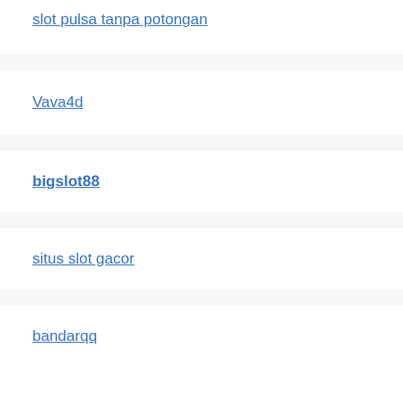slot pulsa tanpa potongan
Vava4d
bigslot88
situs slot gacor
bandarqq